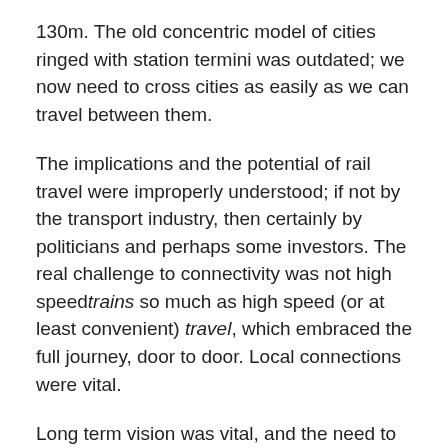130m. The old concentric model of cities ringed with station termini was outdated; we now need to cross cities as easily as we can travel between them.
The implications and the potential of rail travel were improperly understood; if not by the transport industry, then certainly by politicians and perhaps some investors. The real challenge to connectivity was not high speed trains so much as high speed (or at least convenient) travel, which embraced the full journey, door to door. Local connections were vital.
Long term vision was vital, and the need to be flexible enough to allow for cities to grow organically and to adapt. Mobile devices and apps were changing the way people thought about and used cities and transport, but they also presented invisible barriers such as the national restrictions built into some search engines. The long term view, and